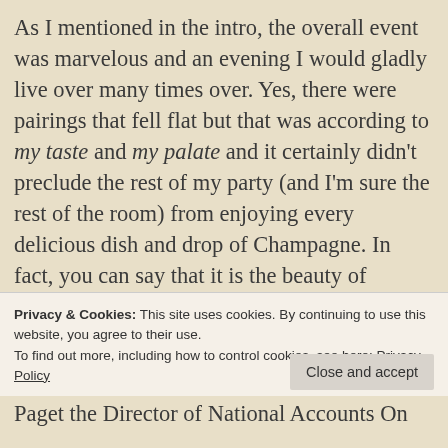As I mentioned in the intro, the overall event was marvelous and an evening I would gladly live over many times over. Yes, there were pairings that fell flat but that was according to my taste and my palate and it certainly didn't preclude the rest of my party (and I'm sure the rest of the room) from enjoying every delicious dish and drop of Champagne. In fact, you can say that it is the beauty of Champagne itself that almost guaranteed the success of the evening
Privacy & Cookies: This site uses cookies. By continuing to use this website, you agree to their use.
To find out more, including how to control cookies, see here: Privacy Policy
Close and accept
Paget the Director of National Accounts On